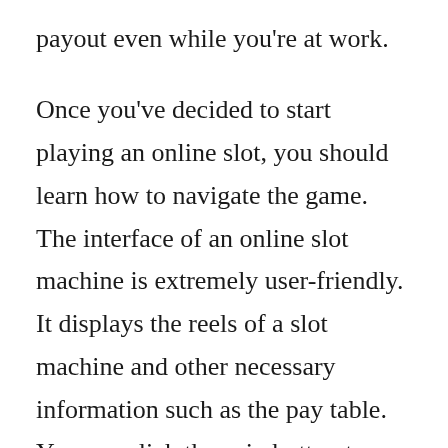payout even while you're at work.
Once you've decided to start playing an online slot, you should learn how to navigate the game. The interface of an online slot machine is extremely user-friendly. It displays the reels of a slot machine and other necessary information such as the pay table. You can click the spin button to begin the game and can then set your desired amount. The bankroll will also be displayed in the corner of your screen, so you can manage